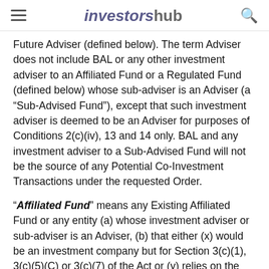investorshub
Future Adviser (defined below). The term Adviser does not include BAL or any other investment adviser to an Affiliated Fund or a Regulated Fund (defined below) whose sub-adviser is an Adviser (a “Sub-Advised Fund”), except that such investment adviser is deemed to be an Adviser for purposes of Conditions 2(c)(iv), 13 and 14 only. BAL and any investment adviser to a Sub-Advised Fund will not be the source of any Potential Co-Investment Transactions under the requested Order.
“Affiliated Fund” means any Existing Affiliated Fund or any entity (a) whose investment adviser or sub-adviser is an Adviser, (b) that either (x) would be an investment company but for Section 3(c)(1), 3(c)(5)(C) or 3(c)(7) of the Act or (y) relies on the Rule 8a-7 exemption from investment company...